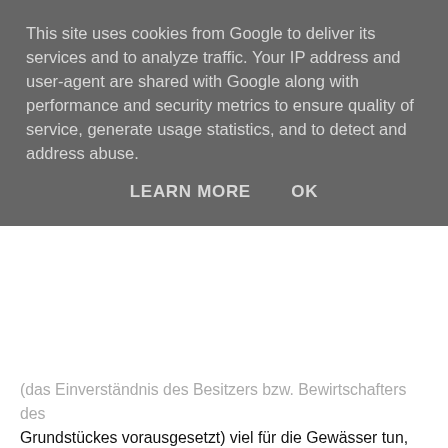This site uses cookies from Google to deliver its services and to analyze traffic. Your IP address and user-agent are shared with Google along with performance and security metrics to ensure quality of service, generate usage statistics, and to detect and address abuse.
LEARN MORE   OK
(das Einverständnis des Besitzers bzw. Bewirtschafters des Grundstückes vorausgesetzt) viel für die Gewässer tun, indem er die richtigen Pflanzen anpflanzt. Das ist in aller Regel nicht schwer und auch in kleinem Kreis schnell getan. Das Ergebnis kann eine abwechslungsreiche Aue mit unterschiedlichen, teils sehr schön blühenden oder samenden Gehölzen sein, die das Gewässer strukturell aufwerten und gleichzeitig die Ufer befestigen, dem Hochwasserschutz dienen und z.B. Vögeln, Schmetterlingen und (Wild-)Bienen Nahrung und Lebensraum bieten. Wer das nicht glaubt, kann sich einfach mal das Europäische Pfaffenhütchen (Spindelstrauch), die Zitterpappel (Espe), die Schwarzerle, die Gewöhnliche Traubenkirsche oder eine der vielen einheimischen Weidenarten anschauen.